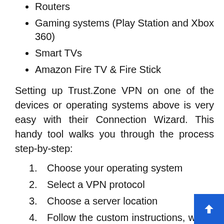Routers
Gaming systems (Play Station and Xbox 360)
Smart TVs
Amazon Fire TV & Fire Stick
Setting up Trust.Zone VPN on one of the devices or operating systems above is very easy with their Connection Wizard. This handy tool walks you through the process step-by-step:
1. Choose your operating system
2. Select a VPN protocol
3. Choose a server location
4. Follow the custom instructions, which are created based on your previous selections.